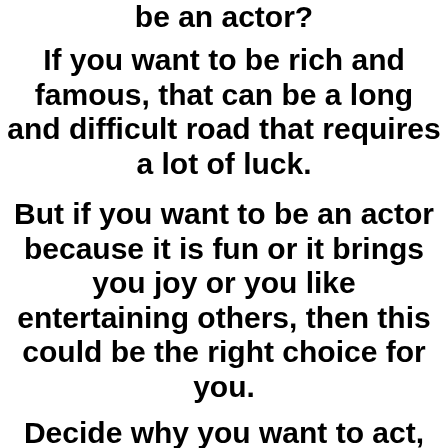be an actor?
If you want to be rich and famous, that can be a long and difficult road that requires a lot of luck.
But if you want to be an actor because it is fun or it brings you joy or you like entertaining others, then this could be the right choice for you.
Decide why you want to act, figure out why it is important to you and what kind of actor you